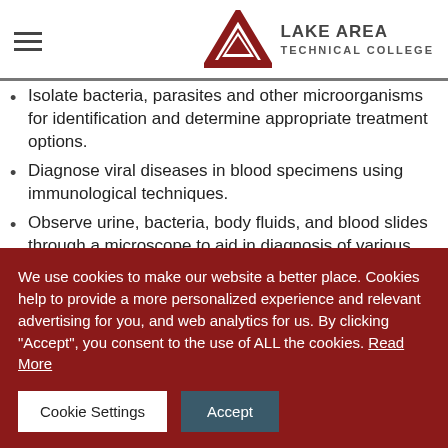Lake Area Technical College
Isolate bacteria, parasites and other microorganisms for identification and determine appropriate treatment options.
Diagnose viral diseases in blood specimens using immunological techniques.
Observe urine, bacteria, body fluids, and blood slides through a microscope to aid in diagnosis of various conditions.
Use hematology analyzers to count and
We use cookies to make our website a better place. Cookies help to provide a more personalized experience and relevant advertising for you, and web analytics for us. By clicking "Accept", you consent to the use of ALL the cookies. Read More